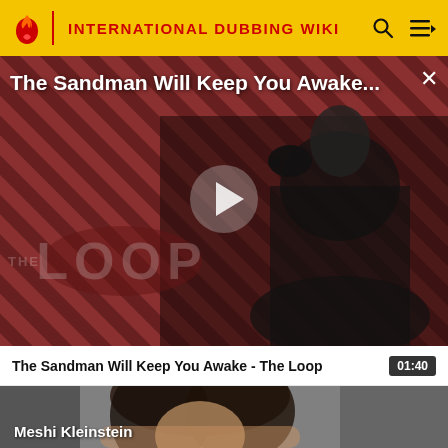INTERNATIONAL DUBBING WIKI
[Figure (screenshot): Video thumbnail showing The Sandman character in black costume against a red and black diagonal striped background with THE LOOP logo, a play button in center, and video title overlay reading 'The Sandman Will Keep You Awake...']
The Sandman Will Keep You Awake - The Loop  01:40
[Figure (photo): Photo thumbnail showing a woman with curly dark hair, labeled 'Meshi Kleinstein']